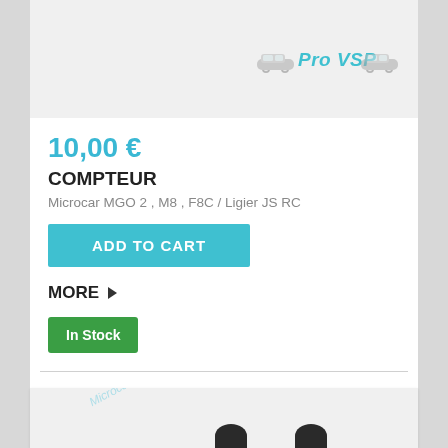[Figure (logo): Pro VSP logo with car icons on light grey product image background]
10,00 €
COMPTEUR
Microcar MGO 2 , M8 , F8C / Ligier JS RC
ADD TO CART
MORE ▶
In Stock
[Figure (photo): Product photo with diagonal watermark text and dark items visible at bottom]